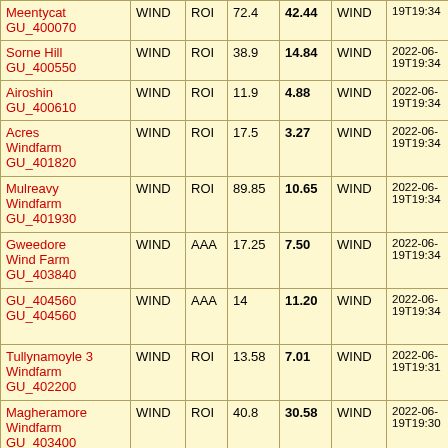| Name/ID | Type | Region | Value1 | Value2 | Type2 | Timestamp |
| --- | --- | --- | --- | --- | --- | --- |
| Meentycat
GU_400070 | WIND | ROI | 72.4 | 42.44 | WIND | 2022-06-19T19:34 |
| Sorne Hill
GU_400550 | WIND | ROI | 38.9 | 14.84 | WIND | 2022-06-19T19:34 |
| Airoshin
GU_400610 | WIND | ROI | 11.9 | 4.88 | WIND | 2022-06-19T19:34 |
| Acres Windfarm
GU_401820 | WIND | ROI | 17.5 | 3.27 | WIND | 2022-06-19T19:34 |
| Mulreavy Windfarm
GU_401930 | WIND | ROI | 89.85 | 10.65 | WIND | 2022-06-19T19:34 |
| Gweedore Wind Farm
GU_403840 | WIND | AAA | 17.25 | 7.50 | WIND | 2022-06-19T19:34 |
| GU_404560
GU_404560 | WIND | AAA | 14 | 11.20 | WIND | 2022-06-19T19:34 |
| Tullynamoyle 3 Windfarm
GU_402200 | WIND | ROI | 13.58 | 7.01 | WIND | 2022-06-19T19:31 |
| Magheramore Windfarm
GU_403400 | WIND | ROI | 40.8 | 30.58 | WIND | 2022-06-19T19:30 |
| Tullynahaw
GU_400940 | WIND | ROI | 22 | 10.39 | WIND | 2022-06-19T19:30 |
| Meenadreen | WIND | ROI |  |  | WIND | 2022-06-... |